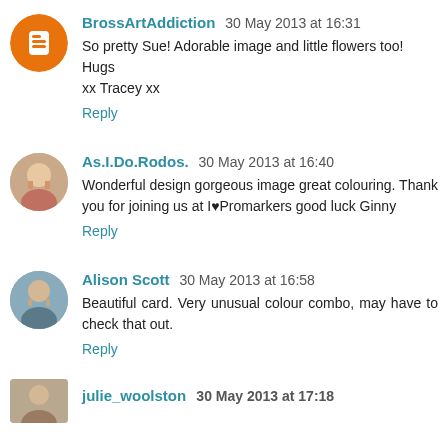BrossArtAddiction 30 May 2013 at 16:31
So pretty Sue! Adorable image and little flowers too!
Hugs
xx Tracey xx
Reply
As.I.Do.Rodos. 30 May 2013 at 16:40
Wonderful design gorgeous image great colouring. Thank you for joining us at I♥Promarkers good luck Ginny
Reply
Alison Scott 30 May 2013 at 16:58
Beautiful card. Very unusual colour combo, may have to check that out.
Reply
julie_woolston 30 May 2013 at 17:18